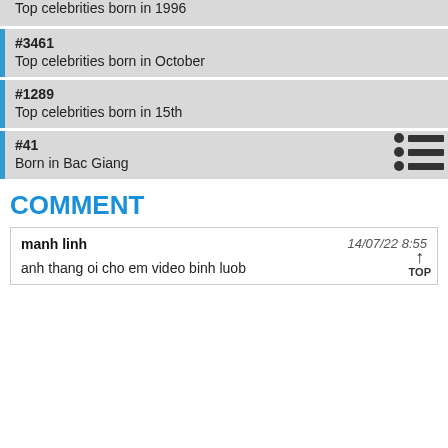Top celebrities born in 1996
#3461
Top celebrities born in October
#1289
Top celebrities born in 15th
#41
Born in Bac Giang
COMMENT
manh linh  14/07/22 8:55
anh thang oi cho em video binh luob